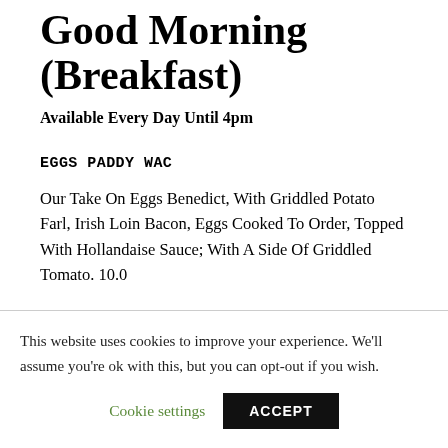Good Morning (Breakfast)
Available Every Day Until 4pm
EGGS PADDY WAC
Our Take On Eggs Benedict, With Griddled Potato Farl, Irish Loin Bacon, Eggs Cooked To Order, Topped With Hollandaise Sauce; With A Side Of Griddled Tomato. 10.0
This website uses cookies to improve your experience. We'll assume you're ok with this, but you can opt-out if you wish.
Cookie settings   ACCEPT